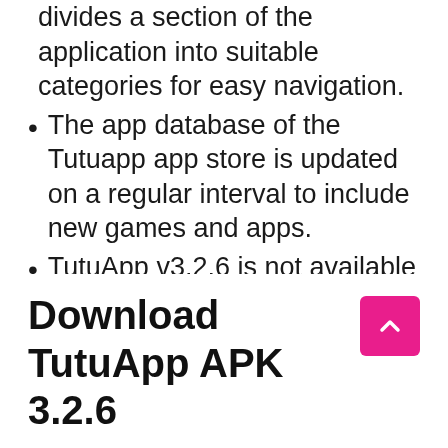divides a section of the application into suitable categories for easy navigation.
The app database of the Tutuapp app store is updated on a regular interval to include new games and apps.
TutuApp v3.2.6 is not available on the play store or app store for downloading. However, it is entirely safe to sideload its APK from the official site of TutuApp.
The premium apps of the official stores can be downloaded for free.
Multiple apps can be downloaded simultaneously.
Download TutuApp APK 3.2.6